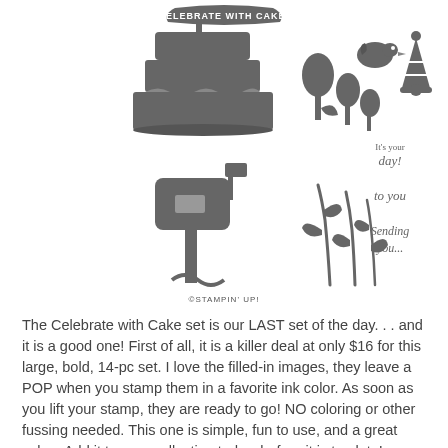[Figure (illustration): Stampin' Up! 'Celebrate with Cake' stamp set preview image showing silhouette stamps: a layered birthday cake, tulip flowers, a bird, a party hat, a mailbox, balloon, plant stems with leaves, and script text phrases 'It's your day!', 'to you', 'Sending you...' and a banner reading 'CELEBRATE WITH CAKE!']
©STAMPIN' UP!
The Celebrate with Cake set is our LAST set of the day. . . and it is a good one! First of all, it is a killer deal at only $16 for this large, bold, 14-pc set. I love the filled-in images, they leave a POP when you stamp them in a favorite ink color. As soon as you lift your stamp, they are ready to go! NO coloring or other fussing needed. This one is simple, fun to use, and a great value. Add it to your collection today, before it is too late!